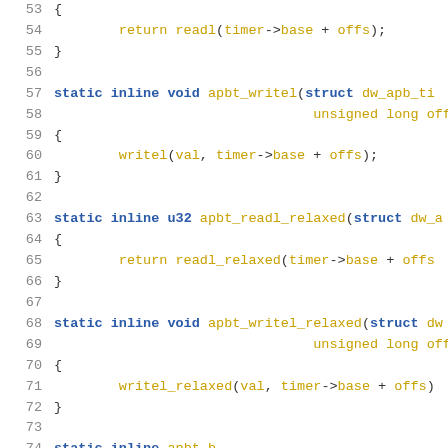Source code snippet showing C inline functions for apbt timer register access (lines 53-74)